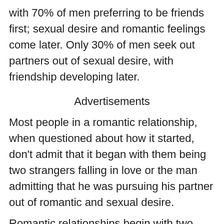with 70% of men preferring to be friends first; sexual desire and romantic feelings come later. Only 30% of men seek out partners out of sexual desire, with friendship developing later.
Advertisements
Most people in a romantic relationship, when questioned about how it started, don't admit that it began with them being two strangers falling in love or the man admitting that he was pursuing his partner out of romantic and sexual desire.
Romantic relationships begin with two friends